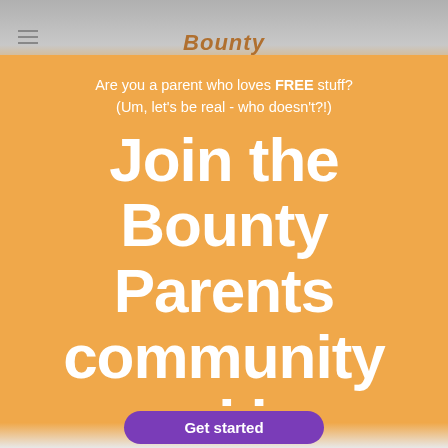Bounty
Are you a parent who loves FREE stuff? (Um, let's be real - who doesn't?!)
Join the Bounty Parents community and be rewarded!